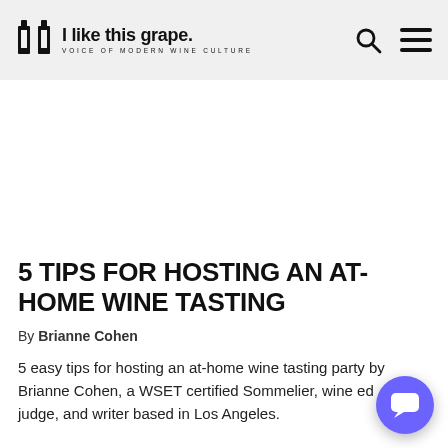I like this grape. VOICE OF MODERN WINE CULTURE
[Figure (other): Advertisement or blank space area]
5 TIPS FOR HOSTING AN AT-HOME WINE TASTING
By Brianne Cohen
5 easy tips for hosting an at-home wine tasting party by Brianne Cohen, a WSET certified Sommelier, wine educator, judge, and writer based in Los Angeles.